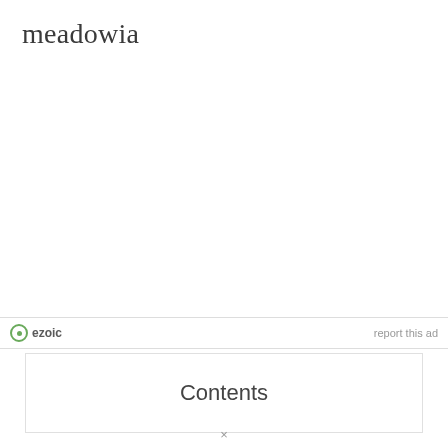meadowia
ezoic   report this ad
Contents